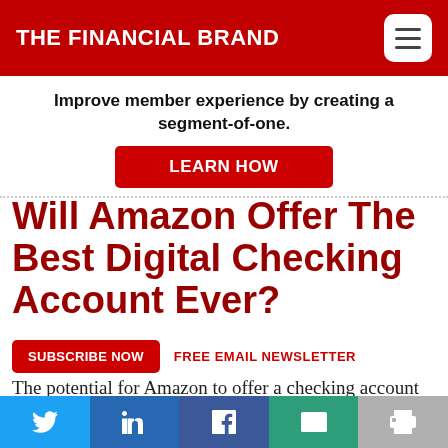THE FINANCIAL BRAND
Improve member experience by creating a segment-of-one.
LEARN HOW
Will Amazon Offer The Best Digital Checking Account Ever?
SUBSCRIBE NOW   FREE EMAIL NEWSLETTER
The potential for Amazon to offer a checking account should frighten most bankers. Not